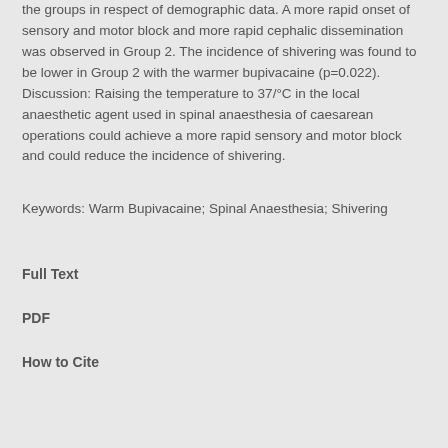the groups in respect of demographic data. A more rapid onset of sensory and motor block and more rapid cephalic dissemination was observed in Group 2. The incidence of shivering was found to be lower in Group 2 with the warmer bupivacaine (p=0.022). Discussion: Raising the temperature to 37°C in the local anaesthetic agent used in spinal anaesthesia of caesarean operations could achieve a more rapid sensory and motor block and could reduce the incidence of shivering.
Keywords: Warm Bupivacaine; Spinal Anaesthesia; Shivering
Full Text
PDF
How to Cite